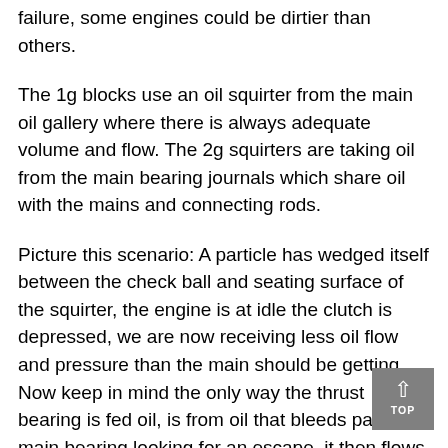failure, some engines could be dirtier than others.
The 1g blocks use an oil squirter from the main oil gallery where there is always adequate volume and flow. The 2g squirters are taking oil from the main bearing journals which share oil with the mains and connecting rods.
Picture this scenario: A particle has wedged itself between the check ball and seating surface of the squirter, the engine is at idle the clutch is depressed, we are now receiving less oil flow and pressure than the main should be getting. Now keep in mind the only way the thrust bearing is fed oil, is from oil that bleeds past the main bearing looking for an escape, it then flows